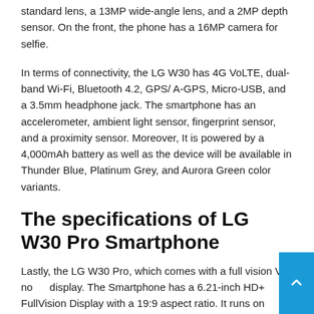standard lens, a 13MP wide-angle lens, and a 2MP depth sensor. On the front, the phone has a 16MP camera for selfie.
In terms of connectivity, the LG W30 has 4G VoLTE, dual-band Wi-Fi, Bluetooth 4.2, GPS/ A-GPS, Micro-USB, and a 3.5mm headphone jack. The smartphone has an accelerometer, ambient light sensor, fingerprint sensor, and a proximity sensor. Moreover, It is powered by a 4,000mAh battery as well as the device will be available in Thunder Blue, Platinum Grey, and Aurora Green color variants.
The specifications of LG W30 Pro Smartphone
Lastly, the LG W30 Pro, which comes with a full vision V-notch display. The Smartphone has a 6.21-inch HD+ FullVision Display with a 19:9 aspect ratio. It runs on Android 9.0 Pie and